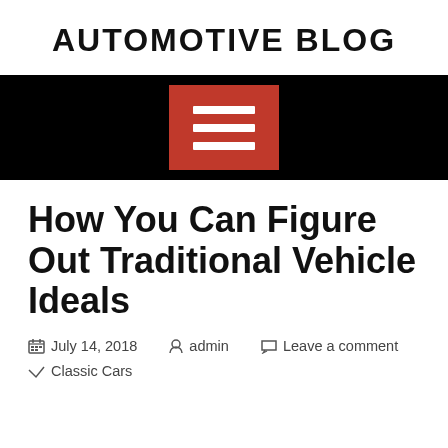AUTOMOTIVE BLOG
[Figure (other): Black navigation bar with red hamburger menu button containing three white horizontal lines]
How You Can Figure Out Traditional Vehicle Ideals
July 14, 2018   admin   Leave a comment   Classic Cars